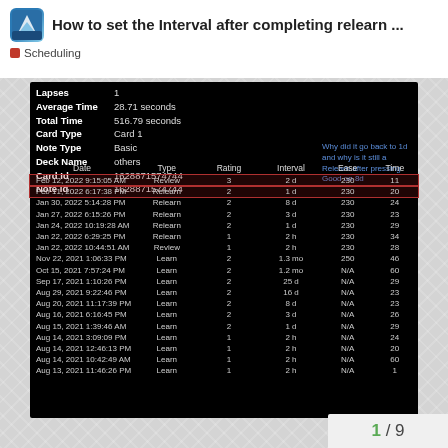How to set the Interval after completing relearn ...
Scheduling
[Figure (screenshot): Anki card info screenshot showing a card history table with columns Date, Type, Rating, Interval, Ease, Time. The card has various Review, Relearn, and Learn entries. An annotation in blue asks 'Why did it go back to 1d and why is it still a Relearn after pressing Good on 8d'. The top two rows (Feb 12 2022 Review 2d and Feb 11 2022 Relearn 1d) are highlighted with a red border.]
1 / 9